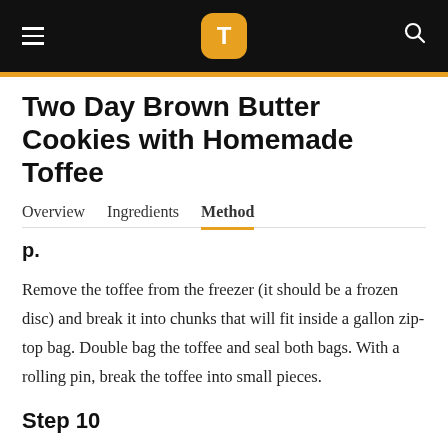T (Tasty logo navigation bar)
Two Day Brown Butter Cookies with Homemade Toffee
Overview  Ingredients  Method
Remove the toffee from the freezer (it should be a frozen disc) and break it into chunks that will fit inside a gallon zip-top bag. Double bag the toffee and seal both bags. With a rolling pin, break the toffee into small pieces.
Step 10